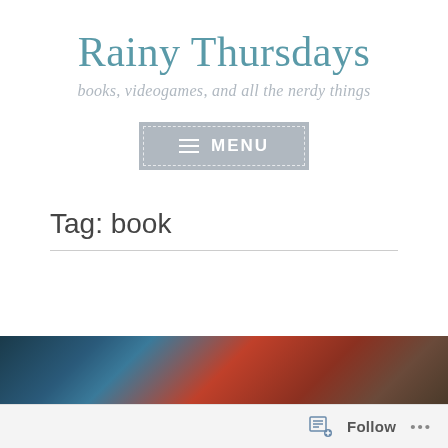Rainy Thursdays
books, videogames, and all the nerdy things
MENU
Tag: book
[Figure (photo): Partial image of a book cover visible at the bottom of the page, showing reddish-brown and teal color tones]
Follow ...